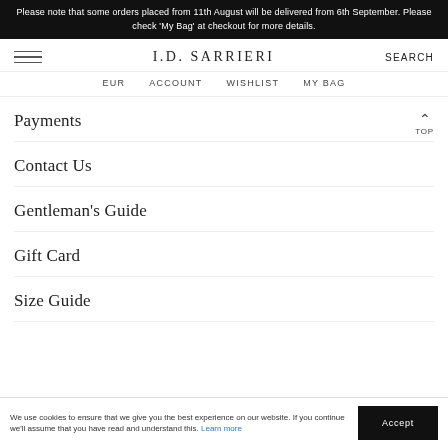Please note that some orders placed from 11th August will be delivered from 6th September. Please check 'My Bag' at checkout for more details.
I.D. SARRIERI  SEARCH  EUR  ACCOUNT  WISHLIST  MY BAG
Payments
Contact Us
Gentleman's Guide
Gift Card
Size Guide
We use cookies to ensure that we give you the best experience on our website. If you continue we'll assume that you have read and understand this. Learn more  Accept